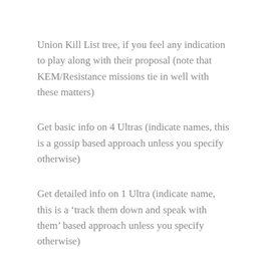Union Kill List tree, if you feel any indication to play along with their proposal (note that KEM/Resistance missions tie in well with these matters)
Get basic info on 4 Ultras (indicate names, this is a gossip based approach unless you specify otherwise)
Get detailed info on 1 Ultra (indicate name, this is a ‘track them down and speak with them’ based approach unless you specify otherwise)
Kill an Ultra from the list (indicate target name and your basic method, may cause rebellion or discontent in any Posse or Warband assets you use,